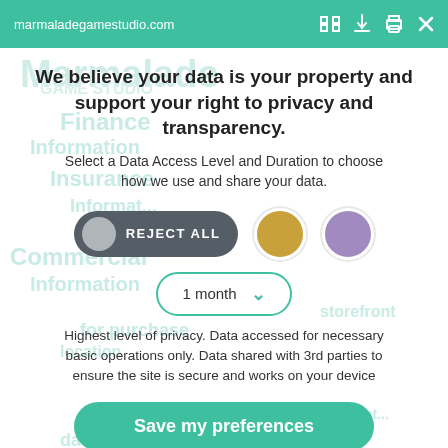marmaladegamestudio.com
We believe your data is your property and support your right to privacy and transparency.
Select a Data Access Level and Duration to choose how we use and share your data.
[Figure (infographic): Privacy consent toggle UI with REJECT ALL pill button, gold circle, purple circle, and 1 month dropdown selector]
Highest level of privacy. Data accessed for necessary basic operations only. Data shared with 3rd parties to ensure the site is secure and works on your device
Save my preferences
Customize    Privacy policy